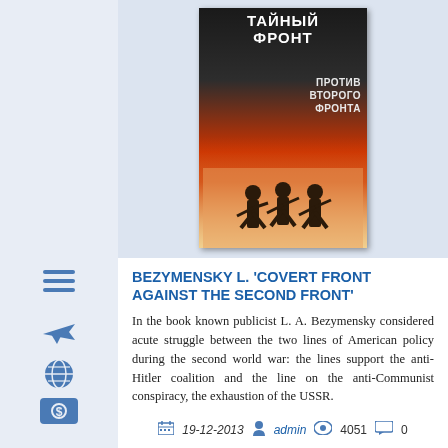[Figure (photo): Book cover of 'Covert Front Against the Second Front' by L.A. Bezymensky, showing Russian Cyrillic title text 'ТАЙНЫЙ ФРОНТ ПРОТИВ ВТОРОГО ФРОНТА' on a dark red background with soldiers silhouetted at the bottom.]
BEZYMENSKY L. 'COVERT FRONT AGAINST THE SECOND FRONT'
In the book known publicist L. A. Bezymensky considered acute struggle between the two lines of American policy during the second world war: the lines support the anti-Hitler coalition and the line on the anti-Communist conspiracy, the exhaustion of the USSR.
19-12-2013  admin  4051  0